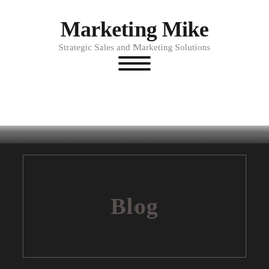Marketing Mike
Strategic Sales and Marketing Solutions
[Figure (other): Hamburger menu icon — three horizontal black bars stacked vertically]
[Figure (other): Dark section with a rectangular border outline containing the word 'Blog' in dark muted serif text, set against a near-black background with a concrete-textured divider strip above]